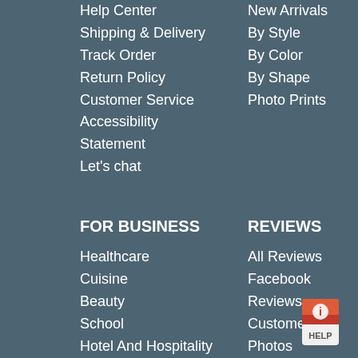Help Center
Shipping & Delivery
Track Order
Return Policy
Customer Service
Accessibility Statement
Let's chat
New Arrivals
By Style
By Color
By Shape
Photo Prints
FOR BUSINESS
Healthcare
Cuisine
Beauty
School
Hotel And Hospitality
Accounting Office
REVIEWS
All Reviews
Facebook Reviews
Customer's Photos
[Figure (illustration): Help icon - orange/red document icon with 'i' symbol and text HELP below]